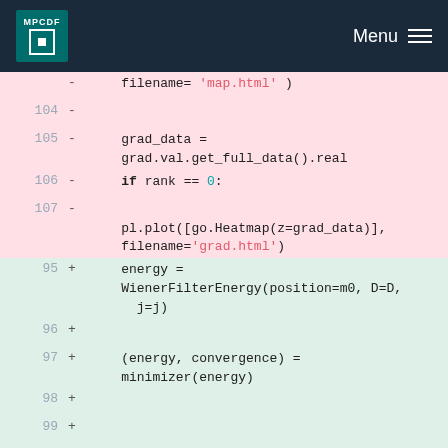MPCDF Menu
[Figure (screenshot): Code diff view showing removed lines (pink background, lines 104-107) and added lines (green background, lines 95-103). Removed code includes grad_data assignment, if rank == 0 check, and pl.plot heatmap call. Added code includes energy = WienerFilterEnergy(...) and minimizer(energy) call.]